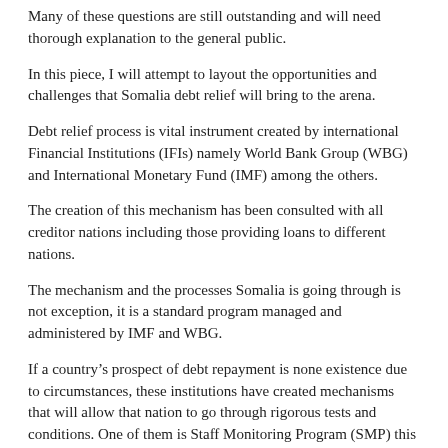Many of these questions are still outstanding and will need thorough explanation to the general public.
In this piece, I will attempt to layout the opportunities and challenges that Somalia debt relief will bring to the arena.
Debt relief process is vital instrument created by international Financial Institutions (IFIs) namely World Bank Group (WBG) and International Monetary Fund (IMF) among the others.
The creation of this mechanism has been consulted with all creditor nations including those providing loans to different nations.
The mechanism and the processes Somalia is going through is not exception, it is a standard program managed and administered by IMF and WBG.
If a country's prospect of debt repayment is none existence due to circumstances, these institutions have created mechanisms that will allow that nation to go through rigorous tests and conditions. One of them is Staff Monitoring Program (SMP) this in lay man's terms, means that countries' expenditure and income must be accounted for in a